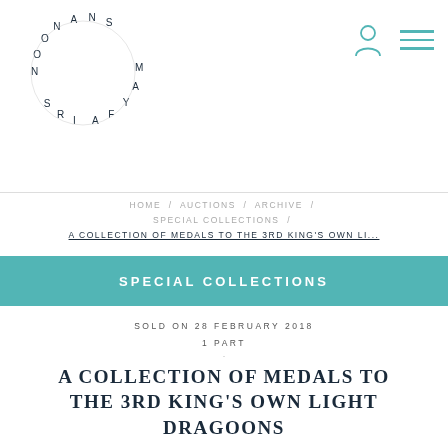[Figure (logo): Noonans Mayfair circular text logo]
HOME / AUCTIONS / ARCHIVE / SPECIAL COLLECTIONS / A COLLECTION OF MEDALS TO THE 3RD KING'S OWN LI...
SPECIAL COLLECTIONS
SOLD ON 28 FEBRUARY 2018
1 PART
A COLLECTION OF MEDALS TO THE 3RD KING'S OWN LIGHT DRAGOONS